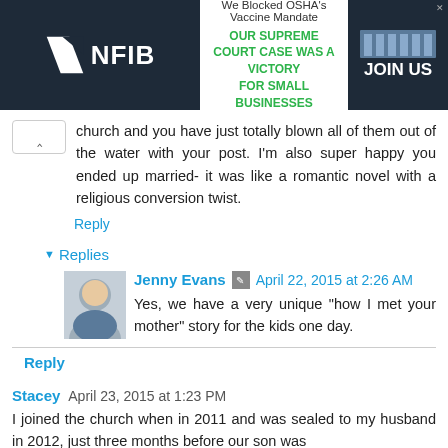[Figure (screenshot): NFIB advertisement banner: 'We Blocked OSHA's Vaccine Mandate OUR SUPREME COURT CASE WAS A VICTORY FOR SMALL BUSINESSES JOIN US']
church and you have just totally blown all of them out of the water with your post. I'm also super happy you ended up married- it was like a romantic novel with a religious conversion twist.
Reply
▾ Replies
Jenny Evans  April 22, 2015 at 2:26 AM
Yes, we have a very unique "how I met your mother" story for the kids one day.
Reply
Stacey  April 23, 2015 at 1:23 PM
I joined the church when in 2011 and was sealed to my husband in 2012, just three months before our son was